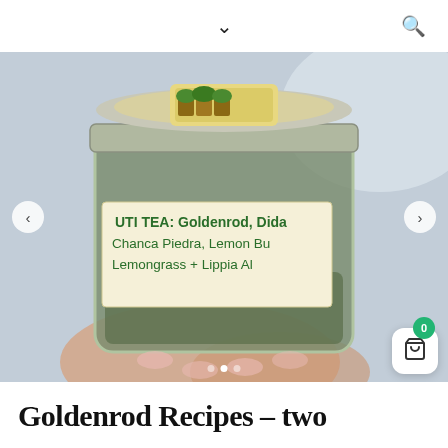chevron down / search icon navigation
[Figure (photo): A hand holding a glass mason jar with a handwritten label reading 'UTI TEA: Goldenrod, Didr... Chanca Piedra, Lemon Bu... Lemongrass + Lippia Al...' The jar has a silver lid with a small decorative sticker on top showing a garden scene. The contents appear to be dried herbs.]
Goldenrod Recipes – two...